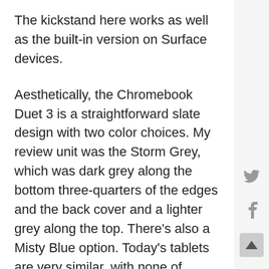The kickstand here works as well as the built-in version on Surface devices.
Aesthetically, the Chromebook Duet 3 is a straightforward slate design with two color choices. My review unit was the Storm Grey, which was dark grey along the bottom three-quarters of the edges and the back cover and a lighter grey along the top. There's also a Misty Blue option. Today's tablets are very similar, with none of Lenovo's competition standing out in terms of look and feel.
The included cloth-covered folio rear kickstand cove and detachable keyboard is a two-part unit, which is